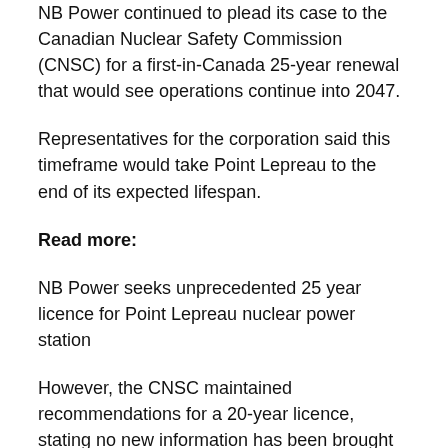NB Power continued to plead its case to the Canadian Nuclear Safety Commission (CNSC) for a first-in-Canada 25-year renewal that would see operations continue into 2047.
Representatives for the corporation said this timeframe would take Point Lepreau to the end of its expected lifespan.
Read more:
NB Power seeks unprecedented 25 year licence for Point Lepreau nuclear power station
However, the CNSC maintained recommendations for a 20-year licence, stating no new information has been brought forward to alter its recommendation since the first stage of hearings in January.
CNSC staff noted a 20-year renewal is based on